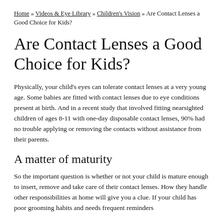Home » Videos & Eye Library » Children's Vision » Are Contact Lenses a Good Choice for Kids?
Are Contact Lenses a Good Choice for Kids?
Physically, your child's eyes can tolerate contact lenses at a very young age. Some babies are fitted with contact lenses due to eye conditions present at birth. And in a recent study that involved fitting nearsighted children of ages 8-11 with one-day disposable contact lenses, 90% had no trouble applying or removing the contacts without assistance from their parents.
A matter of maturity
So the important question is whether or not your child is mature enough to insert, remove and take care of their contact lenses. How they handle other responsibilities at home will give you a clue. If your child has poor grooming habits and needs frequent reminders